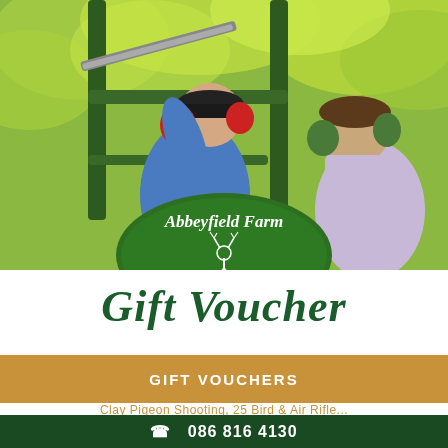[Figure (photo): Two men at a clay pigeon shooting range. One man in a blue shirt aims a shotgun upward, wearing red ear protection. Another man in a lavender shirt watches, wearing green ear protection. Green foliage in the background. An Abbeyfield Farm oval green logo is overlaid at the bottom center of the photo.]
Gift Voucher
GIFT VOUCHERS
Clay Pigeon Shooting, 25 Bird & Air Rifle...
☎ 086 816 4130